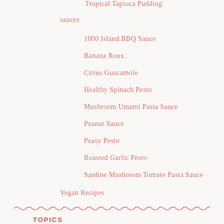Tropical Tapioca Pudding
sauces
1000 Island BBQ Sauce
Banana Roux
Citrus Guacamole
Healthy Spinach Pesto
Mushroom Umami Pasta Sauce
Peanut Sauce
Peasy Pesto
Roasted Garlic Pesto
Sardine Mushroom Tomato Pasta Sauce
Vegan Recipes
TOPICS